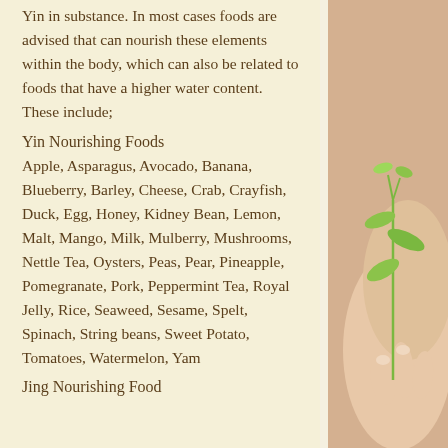Yin in substance. In most cases foods are advised that can nourish these elements within the body, which can also be related to foods that have a higher water content. These include;
Yin Nourishing Foods
Apple, Asparagus, Avocado, Banana, Blueberry, Barley, Cheese, Crab, Crayfish, Duck, Egg, Honey, Kidney Bean, Lemon, Malt, Mango, Milk, Mulberry, Mushrooms, Nettle Tea, Oysters, Peas, Pear, Pineapple, Pomegranate, Pork, Peppermint Tea, Royal Jelly, Rice, Seaweed, Sesame, Spelt, Spinach, String beans, Sweet Potato, Tomatoes, Watermelon, Yam
Jing Nourishing Food